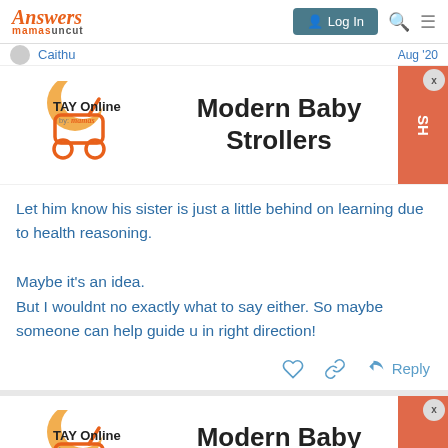Answers mamasuncut — Log In
Caithu   Aug '20
[Figure (logo): TAY Online by mamas stroller logo advertisement for Modern Baby Strollers]
Let him know his sister is just a little behind on learning due to health reasoning.

Maybe it's an idea.
But I wouldnt no exactly what to say either. So maybe someone can help guide u in right direction!
[Figure (logo): TAY Online by mamas stroller logo advertisement for Modern Baby Strollers (second instance)]